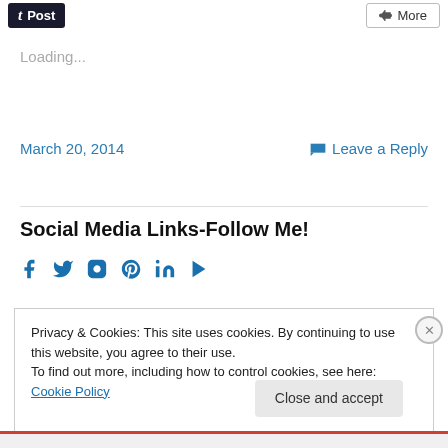[Figure (screenshot): Top bar with Tumblr Post button and More share button]
Loading...
March 20, 2014
Leave a Reply
Social Media Links-Follow Me!
[Figure (illustration): Social media icons: Facebook, Twitter, Instagram, Pinterest, LinkedIn, YouTube]
Privacy & Cookies: This site uses cookies. By continuing to use this website, you agree to their use.
To find out more, including how to control cookies, see here: Cookie Policy
Close and accept